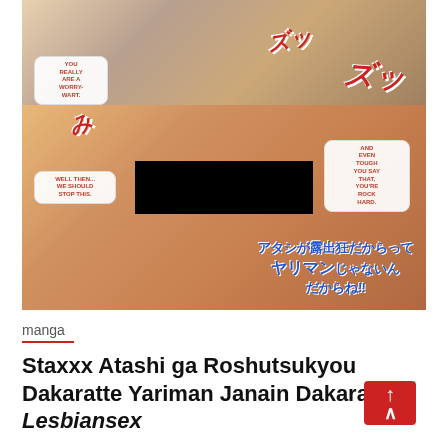[Figure (illustration): Manga/anime style illustration with censored content, speech bubbles with text: 'YOU REALLY ARE A WORRY-WART.', 'WELL THEN... WE SHOULD STOP THIS.', 'AND EVEN TOUGH YOU SAY THAT, YOU'RE ROCK HARD.', Japanese text overlay at bottom right]
manga
Staxxx Atashi ga Roshutsukyou Dakaratte Yariman Janain Dakara ne!! Lesbiansex